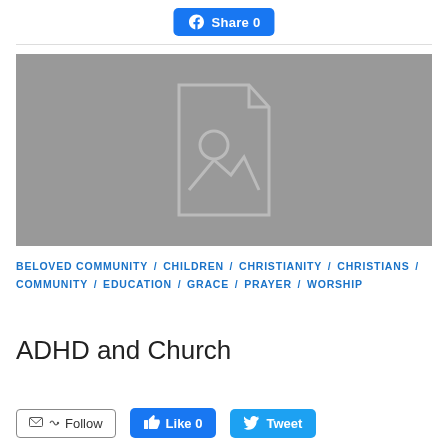[Figure (other): Facebook Share button with count 0]
[Figure (photo): Placeholder image with grey background and document/image placeholder icon]
BELOVED COMMUNITY / CHILDREN / CHRISTIANITY / CHRISTIANS / COMMUNITY / EDUCATION / GRACE / PRAYER / WORSHIP
ADHD and Church
[Figure (other): Follow button, Like 0 button, Tweet button]